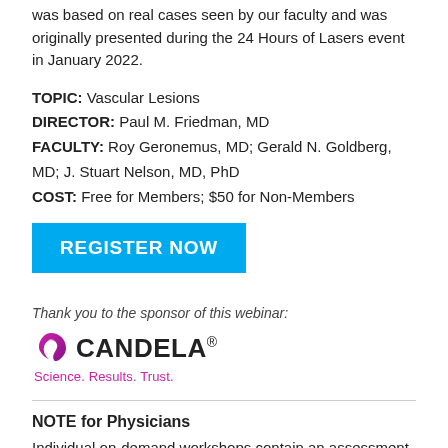was based on real cases seen by our faculty and was originally presented during the 24 Hours of Lasers event in January 2022.
TOPIC: Vascular Lesions
DIRECTOR: Paul M. Friedman, MD
FACULTY: Roy Geronemus, MD; Gerald N. Goldberg, MD; J. Stuart Nelson, MD, PhD
COST: Free for Members; $50 for Non-Members
[Figure (other): REGISTER NOW button in bright blue]
Thank you to the sponsor of this webinar:
[Figure (logo): Candela logo with icon, company name, and tagline Science. Results. Trust.]
NOTE for Physicians
Individual on-demand workshops contain an assessment of the material